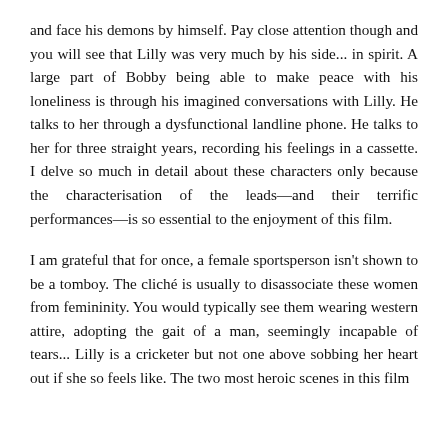and face his demons by himself. Pay close attention though and you will see that Lilly was very much by his side... in spirit. A large part of Bobby being able to make peace with his loneliness is through his imagined conversations with Lilly. He talks to her through a dysfunctional landline phone. He talks to her for three straight years, recording his feelings in a cassette. I delve so much in detail about these characters only because the characterisation of the leads—and their terrific performances—is so essential to the enjoyment of this film.
I am grateful that for once, a female sportsperson isn't shown to be a tomboy. The cliché is usually to disassociate these women from femininity. You would typically see them wearing western attire, adopting the gait of a man, seemingly incapable of tears... Lilly is a cricketer but not one above sobbing her heart out if she so feels like. The two most heroic scenes in this film